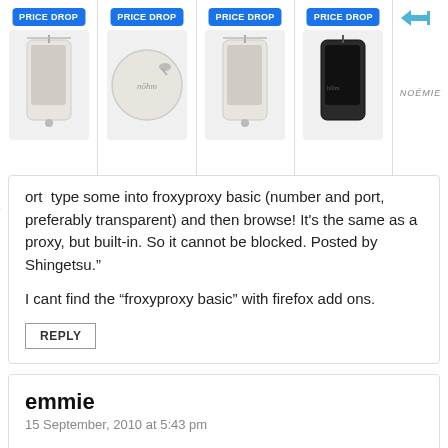[Figure (photo): Advertisement banner with four product images each labeled PRICE DROP in blue badge. Products appear to be phone cases/bags. Right side shows NOEMIE brand name with arrow icon.]
ort  type some into froxyproxy basic (number and port, preferably transparent) and then browse! It's the same as a proxy, but built-in. So it cannot be blocked. Posted by Shingetsu."
I cant find the “froxyproxy basic” with firefox add ons.
REPLY
emmie
15 September, 2010 at 5:43 pm
how do i take a block off of my netgear firewall
REPLY